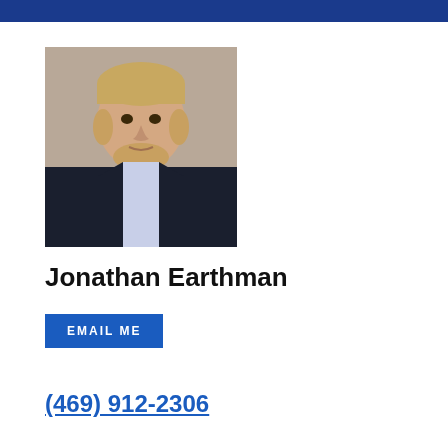[Figure (photo): Professional headshot of Jonathan Earthman, a man with light brown/blonde hair and a beard, wearing a dark navy suit jacket, light blue dress shirt, and a striped tie (gold, brown, white stripes). Photo taken against a brown/tan background.]
Jonathan Earthman
EMAIL ME
(469) 912-2306